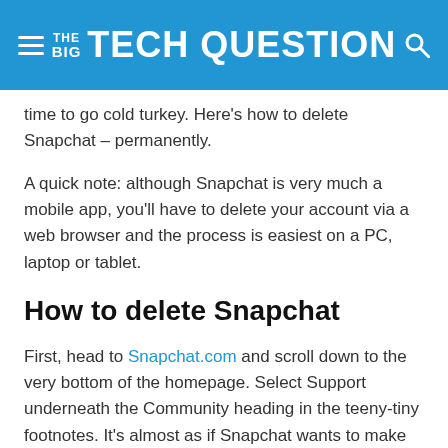THE BIG TECH QUESTION
time to go cold turkey. Here's how to delete Snapchat – permanently.
A quick note: although Snapchat is very much a mobile app, you'll have to delete your account via a web browser and the process is easiest on a PC, laptop or tablet.
How to delete Snapchat
First, head to Snapchat.com and scroll down to the very bottom of the homepage. Select Support underneath the Community heading in the teeny-tiny footnotes. It's almost as if Snapchat wants to make the process difficult…